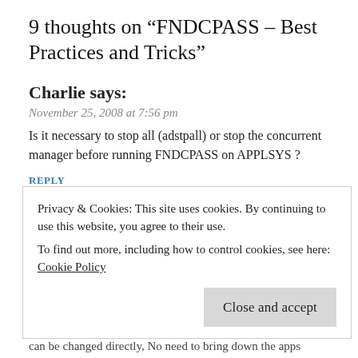9 thoughts on “FNDCPASS – Best Practices and Tricks”
Charlie says:
November 25, 2008 at 7:56 pm
Is it necessary to stop all (adstpall) or stop the concurrent manager before running FNDCPASS on APPLSYS ?
REPLY
JP says:
March 30, 2009 at 7:01 am
Privacy & Cookies: This site uses cookies. By continuing to use this website, you agree to their use.
To find out more, including how to control cookies, see here:
Cookie Policy
Close and accept
can be changed directly, No need to bring down the apps